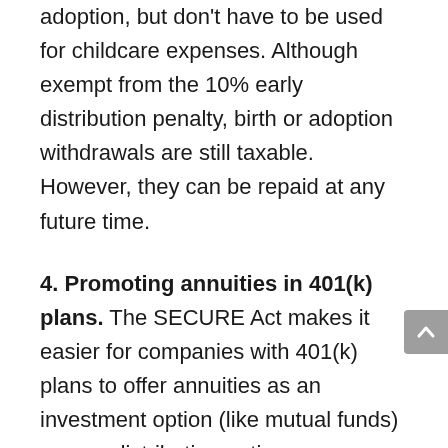adoption, but don't have to be used for childcare expenses. Although exempt from the 10% early distribution penalty, birth or adoption withdrawals are still taxable. However, they can be repaid at any future time.
4. Promoting annuities in 401(k) plans. The SECURE Act makes it easier for companies with 401(k) plans to offer annuities as an investment option (like mutual funds) or as a distribution option